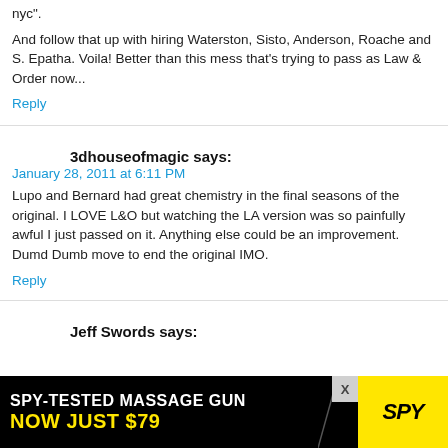nyc".
And follow that up with hiring Waterston, Sisto, Anderson, Roache and S. Epatha. Voila! Better than this mess that's trying to pass as Law & Order now...
Reply
3dhouseofmagic says:
January 28, 2011 at 6:11 PM
Lupo and Bernard had great chemistry in the final seasons of the original. I LOVE L&O but watching the LA version was so painfully awful I just passed on it. Anything else could be an improvement. Dumd Dumb move to end the original IMO.
Reply
Jeff Swords says:
[Figure (infographic): Advertisement banner: SPY-TESTED MASSAGE GUN NOW JUST $79 with SPY logo on yellow background]